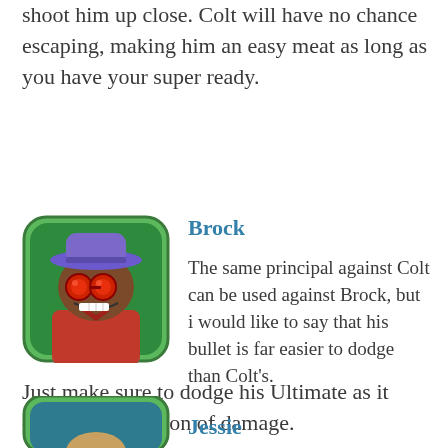shoot him up close. Colt will have no chance escaping, making him an easy meat as long as you have your super ready.
[Figure (illustration): Brock character icon from Brawl Stars game — a dark-skinned character with a purple hat and red round glasses, on a green background with a rounded green border]
Brock
The same principal against Colt can be used against Brock, but i would like to say that his bullet is far easier to dodge than Colt's.
Just make sure to dodge his Ultimate as it deals an absurd ton of damage.
[Figure (illustration): Jessie character icon from Brawl Stars game — partially visible at bottom of page]
Jessie